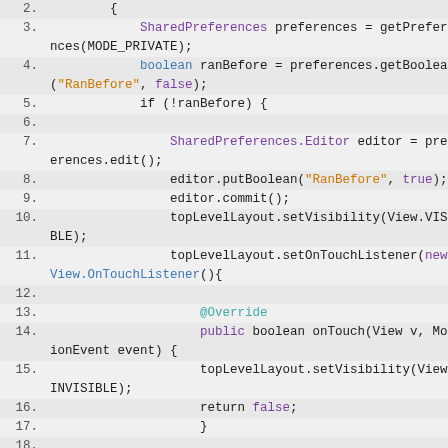Code snippet showing Android SharedPreferences usage with OnTouchListener, lines 2-22